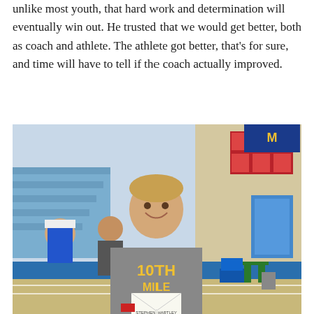unlike most youth, that hard work and determination will eventually win out. He trusted that we would get better, both as coach and athlete. The athlete got better, that's for sure, and time will have to tell if the coach actually improved.
[Figure (photo): A young male athlete in a gray '10TH MILE RUN' t-shirt holding an envelope, smiling, standing inside a gymnasium with blue bleachers and track equipment visible in the background.]